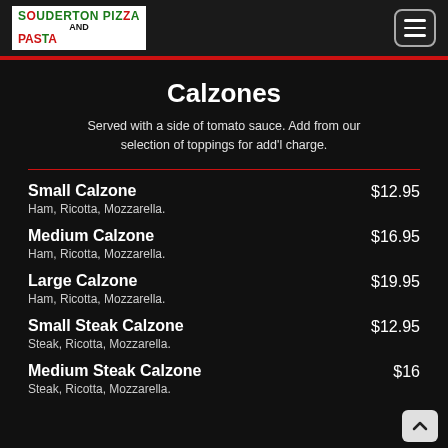Souderton Pizza and Pasta
Calzones
Served with a side of tomato sauce. Add from our selection of toppings for add'l charge.
Small Calzone $12.95 — Ham, Ricotta, Mozzarella.
Medium Calzone $16.95 — Ham, Ricotta, Mozzarella.
Large Calzone $19.95 — Ham, Ricotta, Mozzarella.
Small Steak Calzone $12.95 — Steak, Ricotta, Mozzarella.
Medium Steak Calzone $16.-- — Steak, Ricotta, Mozzarella.